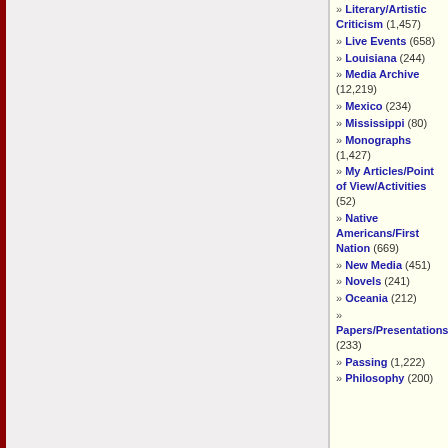» Literary/Artistic Criticism (1,457)
» Live Events (658)
» Louisiana (244)
» Media Archive (12,219)
» Mexico (234)
» Mississippi (80)
» Monographs (1,427)
» My Articles/Point of View/Activities (52)
» Native Americans/First Nation (669)
» New Media (451)
» Novels (241)
» Oceania (212)
» Papers/Presentations (233)
» Passing (1,222)
» Philosophy (200)